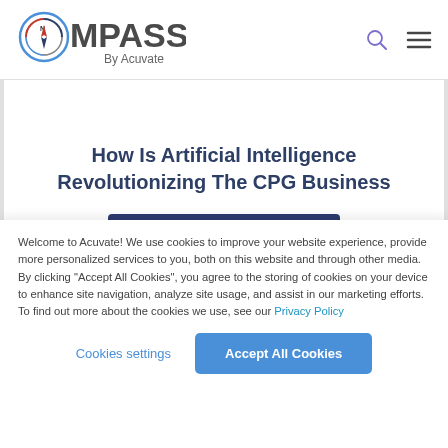[Figure (logo): OMPASS By Acuvate logo with compass icon in blue and red tones]
How Is Artificial Intelligence Revolutionizing The CPG Business
Download Now
Welcome to Acuvate! We use cookies to improve your website experience, provide more personalized services to you, both on this website and through other media. By clicking "Accept All Cookies", you agree to the storing of cookies on your device to enhance site navigation, analyze site usage, and assist in our marketing efforts. To find out more about the cookies we use, see our Privacy Policy
Cookies settings
Accept All Cookies